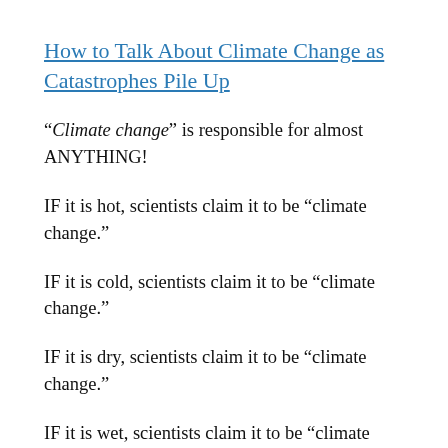How to Talk About Climate Change as Catastrophes Pile Up
“Climate change” is responsible for almost ANYTHING!
IF it is hot, scientists claim it to be “climate change.”
IF it is cold, scientists claim it to be “climate change.”
IF it is dry, scientists claim it to be “climate change.”
IF it is wet, scientists claim it to be “climate